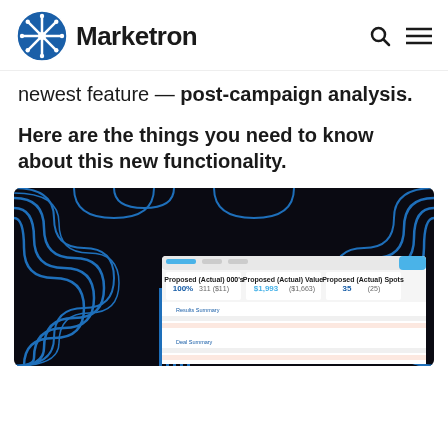Marketron
newest feature — post-campaign analysis.
Here are the things you need to know about this new functionality.
[Figure (screenshot): Screenshot of Marketron post-campaign analysis dashboard showing Proposed/Actual metrics: 100%, 311 ($11), $1,993 ($1,663), 35 (25), with a dark background featuring blue curved line patterns]